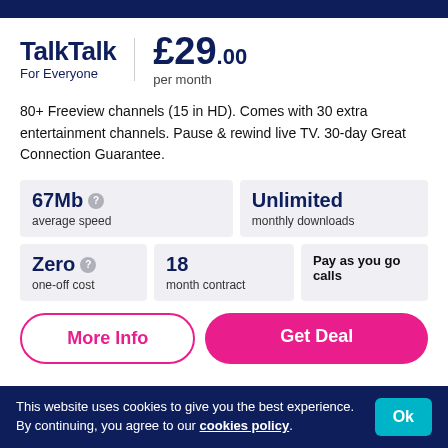TalkTalk For Everyone £29.00 per month
80+ Freeview channels (15 in HD). Comes with 30 extra entertainment channels. Pause & rewind live TV. 30-day Great Connection Guarantee.
67Mb average speed
Unlimited monthly downloads
Zero one-off cost
18 month contract
Pay as you go calls
More Info
Get Deal
This website uses cookies to give you the best experience. By continuing, you agree to our cookies policy.